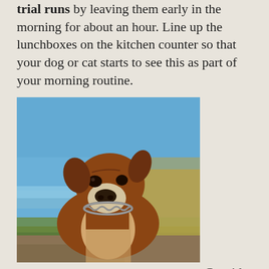trial runs by leaving them early in the morning for about an hour. Line up the lunchboxes on the kitchen counter so that your dog or cat starts to see this as part of your morning routine.
[Figure (photo): A Boxer dog with a chain collar looking upward, photographed outdoors near a marshy area with water, green grass, and dry reeds in the background under a clear blue sky.]
Consider crating your dog during the day. The sense of security a crate provides can be comforting to many dogs. Just be sure to leave them with fresh water, food or treats, a snugly blanket and some favorite toys to keep them occupied until you or the kids get